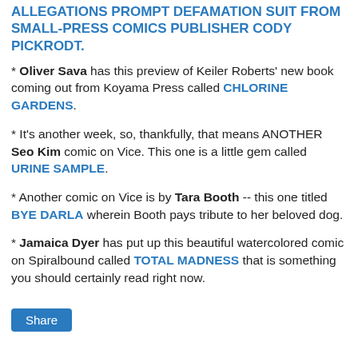ALLEGATIONS PROMPT DEFAMATION SUIT FROM SMALL-PRESS COMICS PUBLISHER CODY PICKRODT.
* Oliver Sava has this preview of Keiler Roberts' new book coming out from Koyama Press called CHLORINE GARDENS.
* It's another week, so, thankfully, that means ANOTHER Seo Kim comic on Vice. This one is a little gem called URINE SAMPLE.
* Another comic on Vice is by Tara Booth -- this one titled BYE DARLA wherein Booth pays tribute to her beloved dog.
* Jamaica Dyer has put up this beautiful watercolored comic on Spiralbound called TOTAL MADNESS that is something you should certainly read right now.
Share